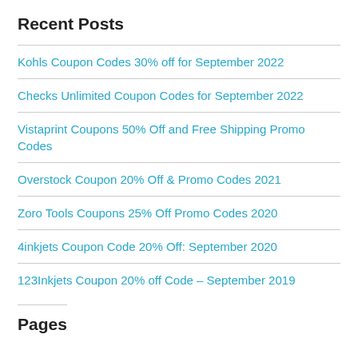Recent Posts
Kohls Coupon Codes 30% off for September 2022
Checks Unlimited Coupon Codes for September 2022
Vistaprint Coupons 50% Off and Free Shipping Promo Codes
Overstock Coupon 20% Off & Promo Codes 2021
Zoro Tools Coupons 25% Off Promo Codes 2020
4inkjets Coupon Code 20% Off: September 2020
123Inkjets Coupon 20% off Code – September 2019
Pages